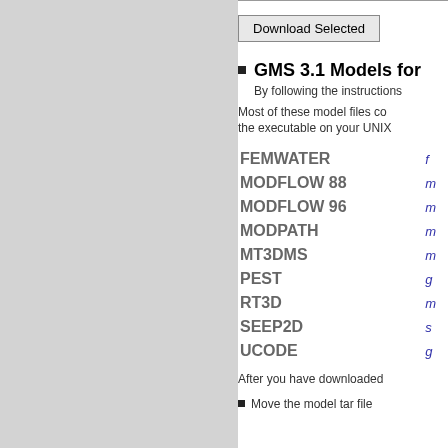Download Selected
GMS 3.1 Models for
By following the instructions
Most of these model files co the executable on your UNIX
| Model | Link |
| --- | --- |
| FEMWATER | f |
| MODFLOW 88 | m |
| MODFLOW 96 | m |
| MODPATH | m |
| MT3DMS | m |
| PEST | g |
| RT3D | m |
| SEEP2D | s |
| UCODE | g |
After you have downloaded
Move the model tar file